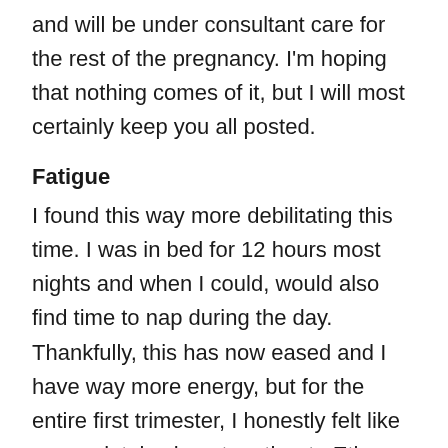and will be under consultant care for the rest of the pregnancy. I'm hoping that nothing comes of it, but I will most certainly keep you all posted.
Fatigue
I found this way more debilitating this time. I was in bed for 12 hours most nights and when I could, would also find time to nap during the day. Thankfully, this has now eased and I have way more energy, but for the entire first trimester, I honestly felt like a completely absent mother to Ethan. Gavin was a God and stepped right up. He dealt with dinners, baths, bedtimes and small person demands. He